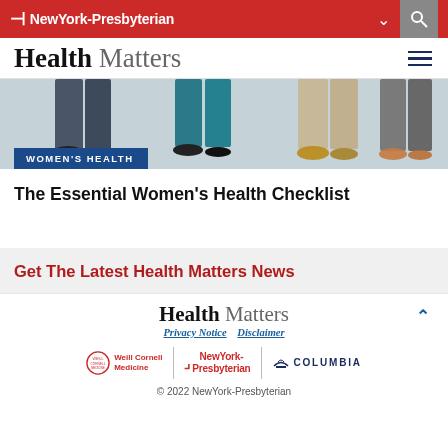NewYork-Presbyterian
Health Matters
[Figure (photo): Cropped photograph showing lower bodies/legs of multiple women standing, with a blue WOMEN'S HEALTH label overlay at bottom left]
WOMEN'S HEALTH
The Essential Women's Health Checklist
Get The Latest Health Matters News
Health Matters
Privacy Notice   Disclaimer
Weill Cornell Medicine | NewYork-Presbyterian | COLUMBIA
© 2022 NewYork-Presbyterian